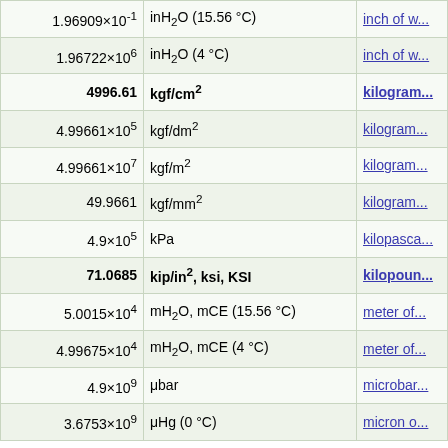| Value | Unit | Link |
| --- | --- | --- |
| 1.96909×10⁻¹ | inH₂O (15.56 °C) | inch of w... |
| 1.96722×10⁶ | inH₂O (4 °C) | inch of w... |
| 4996.61 | kgf/cm² | kilogram... |
| 4.99661×10⁵ | kgf/dm² | kilogram... |
| 4.99661×10⁷ | kgf/m² | kilogram... |
| 49.9661 | kgf/mm² | kilogram... |
| 4.9×10⁵ | kPa | kilopasca... |
| 71.0685 | kip/in², ksi, KSI | kilopoun... |
| 5.0015×10⁴ | mH₂O, mCE (15.56 °C) | meter of... |
| 4.99675×10⁴ | mH₂O, mCE (4 °C) | meter of... |
| 4.9×10⁹ | μbar | microbar... |
| 3.6753×10⁹ | μHg (0 °C) | micron o... |